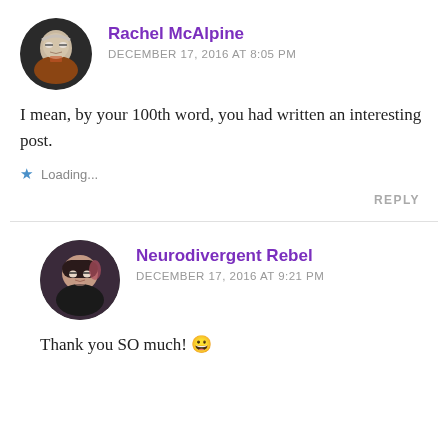[Figure (photo): Circular avatar of Rachel McAlpine, an older woman with glasses and light hair]
Rachel McAlpine
DECEMBER 17, 2016 AT 8:05 PM
I mean, by your 100th word, you had written an interesting post.
Loading...
REPLY
[Figure (photo): Circular avatar of Neurodivergent Rebel, a young woman with short dark hair and glasses]
Neurodivergent Rebel
DECEMBER 17, 2016 AT 9:21 PM
Thank you SO much! 😀